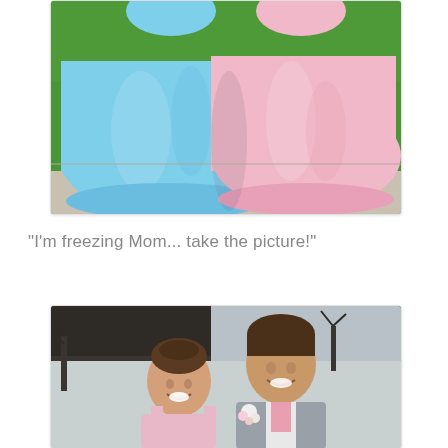[Figure (photo): Cropped photo showing two girls in prom dresses from the waist down — one in a light blue ballgown and one in a pink ballgown — standing on a driveway with green grass in the background.]
"I'm freezing Mom... take the picture!"
[Figure (photo): Photo of a teenage boy in a grey suit with a pink boutonniere and a teenage girl smiling together at prom, with trees and a house roof visible in the background.]